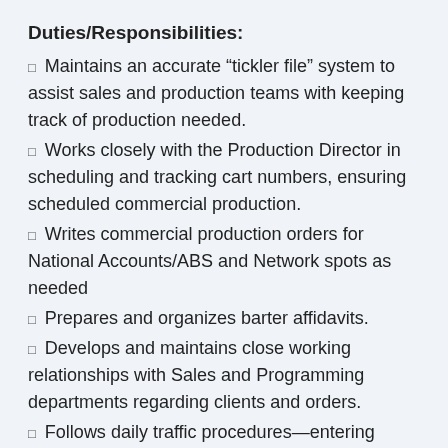Duties/Responsibilities:
Maintains an accurate “tickler file” system to assist sales and production teams with keeping track of production needed.
Works closely with the Production Director in scheduling and tracking cart numbers, ensuring scheduled commercial production.
Writes commercial production orders for National Accounts/ABS and Network spots as needed
Prepares and organizes barter affidavits.
Develops and maintains close working relationships with Sales and Programming departments regarding clients and orders.
Follows daily traffic procedures—entering orders, printing confirmations, scheduling logs, building and messaging logs, sending logs to programming system, managing bumped spots, make-goods, filing orders, etc.
Assists A/R staff with organizing and preparing monthly billing reports including, but not limited to, standard broadcast calendar and co-op billing, typing scripts, stuffing envelopes,